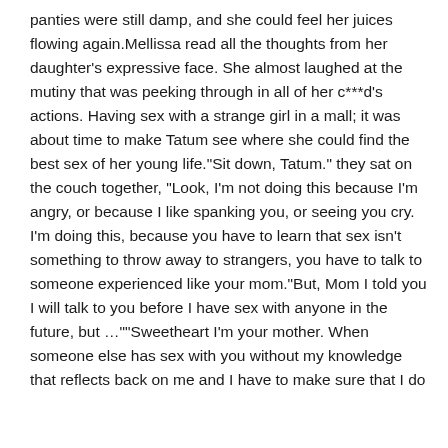panties were still damp, and she could feel her juices flowing again.Mellissa read all the thoughts from her daughter's expressive face. She almost laughed at the mutiny that was peeking through in all of her c***d's actions. Having sex with a strange girl in a mall; it was about time to make Tatum see where she could find the best sex of her young life."Sit down, Tatum." they sat on the couch together, "Look, I'm not doing this because I'm angry, or because I like spanking you, or seeing you cry. I'm doing this, because you have to learn that sex isn't something to throw away to strangers, you have to talk to someone experienced like your mom."But, Mom I told you I will talk to you before I have sex with anyone in the future, but …""Sweetheart I'm your mother. When someone else has sex with you without my knowledge that reflects back on me and I have to make sure that I do